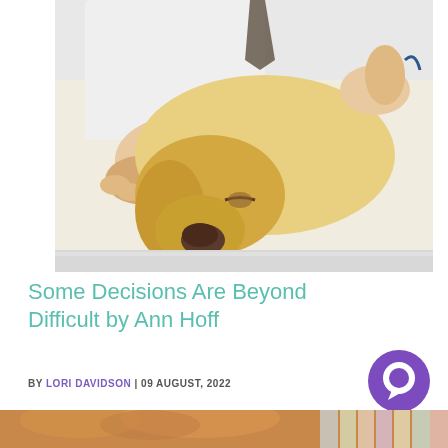[Figure (photo): A Labrador retriever dog lying on its side being examined by a veterinarian in a white coat, with hands visible holding the dog's head and examining its back.]
Some Decisions Are Beyond Difficult by Ann Hoff
BY LORI DAVIDSON | 09 AUGUST, 2022
[Figure (photo): A partial photo at the bottom of the page showing what appears to be a cat or animal with colorful background elements.]